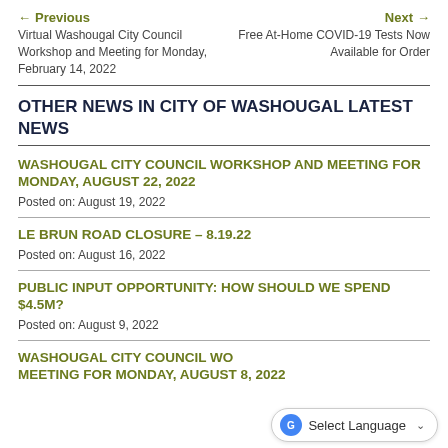← Previous | Next →
Virtual Washougal City Council Workshop and Meeting for Monday, February 14, 2022
Free At-Home COVID-19 Tests Now Available for Order
OTHER NEWS IN CITY OF WASHOUGAL LATEST NEWS
WASHOUGAL CITY COUNCIL WORKSHOP AND MEETING FOR MONDAY, AUGUST 22, 2022
Posted on: August 19, 2022
LE BRUN ROAD CLOSURE – 8.19.22
Posted on: August 16, 2022
PUBLIC INPUT OPPORTUNITY: HOW SHOULD WE SPEND $4.5M?
Posted on: August 9, 2022
WASHOUGAL CITY COUNCIL WO… MEETING FOR MONDAY, AUGUST 8, 2022